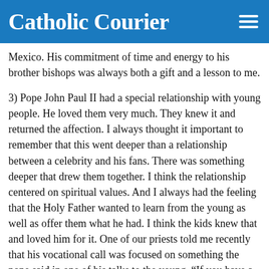Catholic Courier
Mexico. His commitment of time and energy to his brother bishops was always both a gift and a lesson to me.
3) Pope John Paul II had a special relationship with young people. He loved them very much. They knew it and returned the affection. I always thought it important to remember that this went deeper than a relationship between a celebrity and his fans. There was something deeper that drew them together. I think the relationship centered on spiritual values. And I always had the feeling that the Holy Father wanted to learn from the young as well as offer them what he had. I think the kids knew that and loved him for it. One of our priests told me recently that his vocational call was focused on something the pope said in one of his talks to the young. “If you have a sense that God is calling you to priesthood, don’t you think it’s time to talk with someone about it?”
4) That which emerges most strongly in my heart as I remember this man is the way in which he treasured the gift